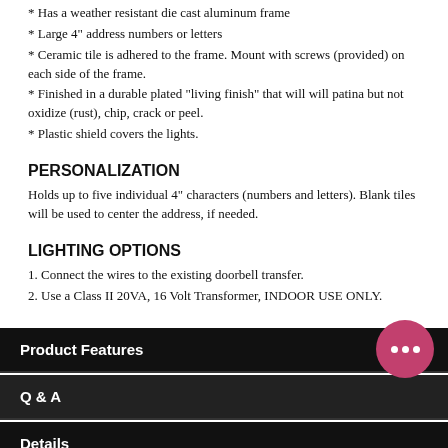* Has a weather resistant die cast aluminum frame
* Large 4" address numbers or letters
* Ceramic tile is adhered to the frame. Mount with screws (provided) on each side of the frame.
* Finished in a durable plated "living finish" that will will patina but not oxidize (rust), chip, crack or peel.
* Plastic shield covers the lights.
PERSONALIZATION
Holds up to five individual 4" characters (numbers and letters). Blank tiles will be used to center the address, if needed.
LIGHTING OPTIONS
1. Connect the wires to the existing doorbell transfer.
2. Use a Class II 20VA, 16 Volt Transformer, INDOOR USE ONLY.
Product Features
Q & A
Details